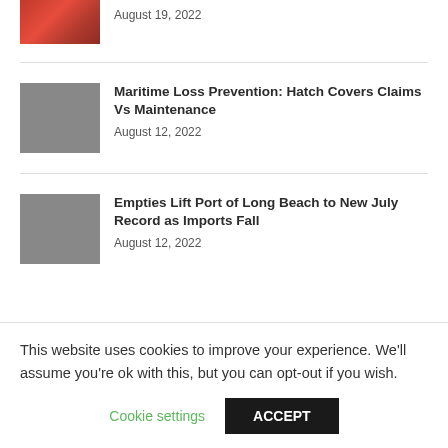August 19, 2022
[Figure (photo): Red maritime equipment photo (truncated at top)]
[Figure (photo): Hatch covers on a ship deck with fire/flames]
Maritime Loss Prevention: Hatch Covers Claims Vs Maintenance
August 12, 2022
[Figure (photo): Port of Long Beach with shipping containers and cranes]
Empties Lift Port of Long Beach to New July Record as Imports Fall
August 12, 2022
This website uses cookies to improve your experience. We'll assume you're ok with this, but you can opt-out if you wish.
Cookie settings
ACCEPT